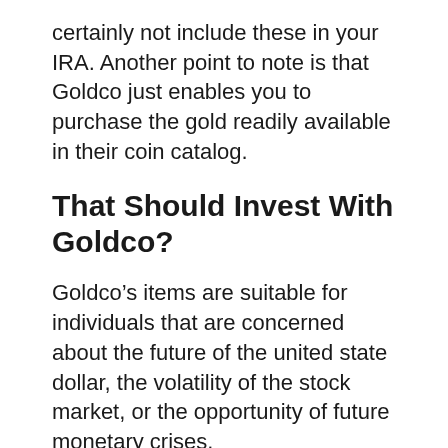certainly not include these in your IRA. Another point to note is that Goldco just enables you to purchase the gold readily available in their coin catalog.
That Should Invest With Goldco?
Goldco’s items are suitable for individuals that are concerned about the future of the united state dollar, the volatility of the stock market, or the opportunity of future monetary crises.
If you prefer to have physical investments rather than corporate securities, Goldco is definitely a practical alternative. A stock can go down 80%, 90%, and even all the way to $0. The history of the stock market has such